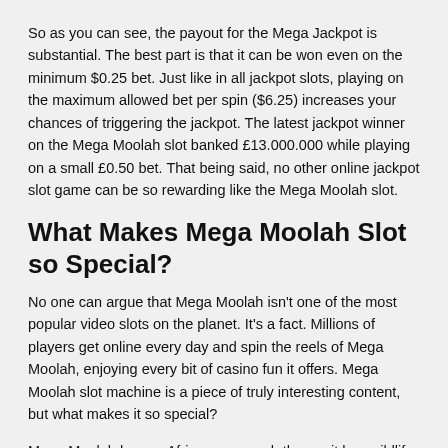So as you can see, the payout for the Mega Jackpot is substantial. The best part is that it can be won even on the minimum $0.25 bet. Just like in all jackpot slots, playing on the maximum allowed bet per spin ($6.25) increases your chances of triggering the jackpot. The latest jackpot winner on the Mega Moolah slot banked £13.000.000 while playing on a small £0.50 bet. That being said, no other online jackpot slot game can be so rewarding like the Mega Moolah slot.
What Makes Mega Moolah Slot so Special?
No one can argue that Mega Moolah isn't one of the most popular video slots on the planet. It's a fact. Millions of players get online every day and spin the reels of Mega Moolah, enjoying every bit of casino fun it offers. Mega Moolah slot machine is a piece of truly interesting content, but what makes it so special?
Mega Moolah has an African savannah theme; it has wildlife symbols, vibrant colours and a friendly tone. Obviously, it's not the only slot with the wildlife thematic in focus, nor is it the only slot with a cool design.